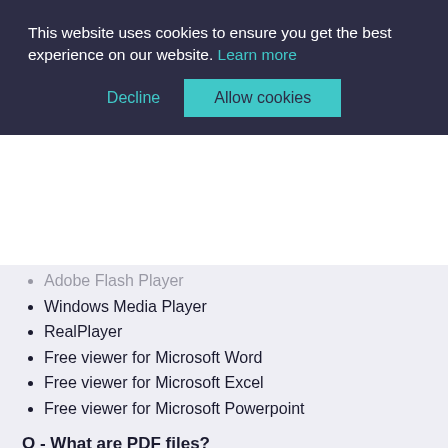This website uses cookies to ensure you get the best experience on our website. Learn more
Decline
Allow cookies
Adobe Flash Player
Windows Media Player
RealPlayer
Free viewer for Microsoft Word
Free viewer for Microsoft Excel
Free viewer for Microsoft Powerpoint
Q - What are PDF files?
The PDF file format is an internet file format (PDF stands for Portable Document Format). It's used for electronic distribution because it preserves the look and feel of the original document complete with fonts, colours, images, and layout. It also can be used across